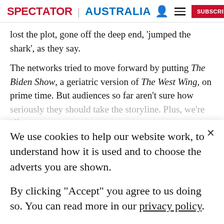SPECTATOR | AUSTRALIA
lost the plot, gone off the deep end, 'jumped the shark', as they say.
The networks tried to move forward by putting The Biden Show, a geriatric version of The West Wing, on prime time. But audiences so far aren't sure how seriously they should take the storyline. Plus, we're all
We use cookies to help our website work, to understand how it is used and to choose the adverts you are shown.
By clicking "Accept" you agree to us doing so. You can read more in our privacy policy.